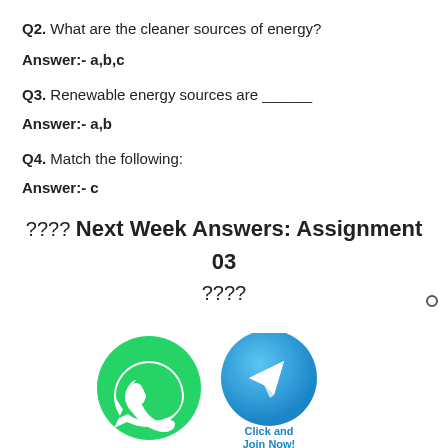Q2. What are the cleaner sources of energy?
Answer:- a,b,c
Q3. Renewable energy sources are ______
Answer:- a,b
Q4. Match the following:
Answer:- c
???? Next Week Answers: Assignment 03 ????
[Figure (illustration): WhatsApp and Telegram app icons with 'Click and Join Now!' text below]